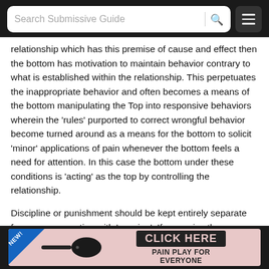[Figure (screenshot): Website header bar with search box labeled 'Search Submissive Guide', a search icon, and a hamburger menu button, on dark background]
relationship which has this premise of cause and effect then the bottom has motivation to maintain behavior contrary to what is established within the relationship. This perpetuates the inappropriate behavior and often becomes a means of the bottom manipulating the Top into responsive behaviors wherein the 'rules' purported to correct wrongful behavior become turned around as a means for the bottom to solicit 'minor' applications of pain whenever the bottom feels a need for attention. In this case the bottom under these conditions is 'acting' as the top by controlling the relationship.
Discipline or punishment should be kept entirely separate from any connection with 'scening'. If you enjoy the application of sensory stimulation during scene - do not use ANY sensory stimulation within the framework of discipline or punishment. Scening is by and large an intensive interactive mutual attention activity. It should occur or take place when there is NO anger present, no hard feelings, no problems being resolved. Both persons within the
[Figure (infographic): Advertisement banner with blue NEW! badge, image of a black leather paddle, dark button reading CLICK HERE, and text PAIN PLAY FOR EVERYONE on pink background]